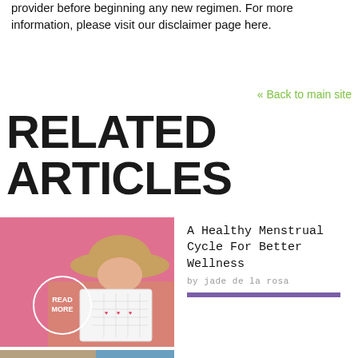provider before beginning any new regimen. For more information, please visit our disclaimer page here.
« Back to main site
RELATED ARTICLES
[Figure (photo): Woman with straw hat holding a calendar in front of a pink background, with a READ MORE circle overlay]
A Healthy Menstrual Cycle For Better Wellness
by jade de la rosa
[Figure (photo): A rolled mat and blue flowers on a wooden surface, partially visible at bottom of page]